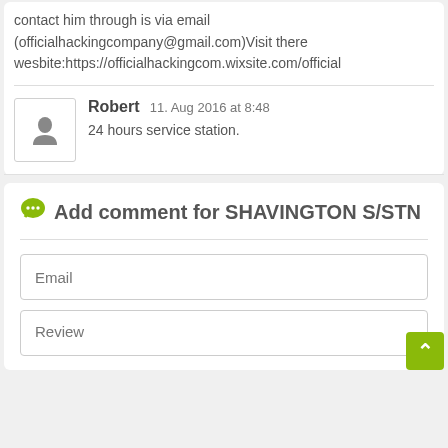contact him through is via email (officialhackingcompany@gmail.com)Visit there wesbite:https://officialhackingcom.wixsite.com/official
Robert 11. Aug 2016 at 8:48
24 hours service station.
Add comment for SHAVINGTON S/STN
Email
Review